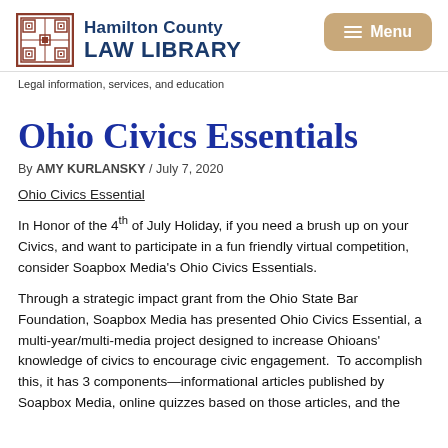Hamilton County LAW LIBRARY — Legal information, services, and education
Ohio Civics Essentials
By AMY KURLANSKY / July 7, 2020
Ohio Civics Essential
In Honor of the 4th of July Holiday, if you need a brush up on your Civics, and want to participate in a fun friendly virtual competition, consider Soapbox Media's Ohio Civics Essentials.
Through a strategic impact grant from the Ohio State Bar Foundation, Soapbox Media has presented Ohio Civics Essential, a multi-year/multi-media project designed to increase Ohioans' knowledge of civics to encourage civic engagement.  To accomplish this, it has 3 components—informational articles published by Soapbox Media, online quizzes based on those articles, and the